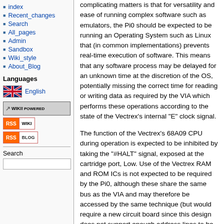index
Recent_changes
Search
All_pages
Admin
Sandbox
Wiki_style
About_Blog
Languages
[Figure (other): English language flag icon with UK flag]
English
[Figure (logo): WikiPowered badge]
[Figure (logo): RSS WIKI badge]
[Figure (logo): RSS BLOG badge]
Search
complicating matters is that for versatility and ease of running complex software such as emulators, the Pi0 should be expected to be running an Operating System such as Linux that (in common implementations) prevents real-time execution of software. This means that any software process may be delayed for an unknown time at the discretion of the OS, potentially missing the correct time for reading or writing data as required by the VIA which performs these operations according to the state of the Vectrex's internal "E" clock signal.
The function of the Vectrex's 68A09 CPU during operation is expected to be inhibited by taking the "#HALT" signal, exposed at the cartridge port, Low. Use of the Vectrex RAM and ROM ICs is not expected to be required by the Pi0, although these share the same bus as the VIA and may therefore be accessed by the same technique (but would require a new circuit board since this design does not support enough address lines to be able to access all of memory).
To work as a successful and reliable interface, the following functions therefore need to be performed